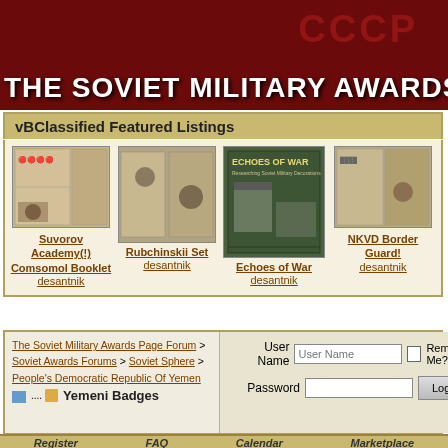THE SOVIET MILITARY AWARDS PAGE F
vBClassified Featured Listings
[Figure (photo): Suvorov Academy Comsomol Booklet document photo]
Suvorov Academy(!) Comsomol Booklet desantnik
[Figure (photo): Rubchinskii Set document photo]
Rubchinskii Set desantnik
[Figure (photo): Echoes of War book cover]
Echoes of War desantnik
[Figure (photo): NKVD Border Guard document photo]
NKVD Border Guard! desantnik
The Soviet Military Awards Page Forum > Soviet Awards Forums > Soviet Sphere > People's Democratic Republic Of Yemen
Yemeni Badges
User Name | Password | Remember Me? | Log in
Register  FAQ  Calendar  Marketplace